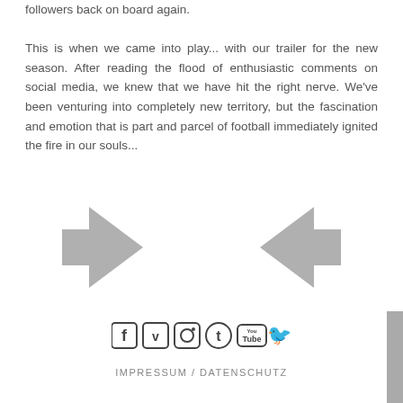followers back on board again.

This is when we came into play... with our trailer for the new season. After reading the flood of enthusiastic comments on social media, we knew that we have hit the right nerve. We've been venturing into completely new territory, but the fascination and emotion that is part and parcel of football immediately ignited the fire in our souls...
[Figure (illustration): Two large gray arrow icons pointing left and right (navigation arrows)]
[Figure (infographic): Row of social media icons: Facebook, Vimeo, Instagram, Tumblr, YouTube, Twitter]
IMPRESSUM / DATENSCHUTZ